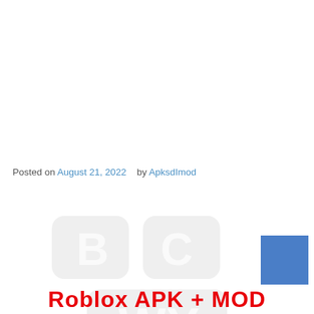Posted on August 21, 2022    by ApksdImod
[Figure (illustration): Faded watermark background image, appears to be a Roblox-related graphic with large stylized letters/logo in light gray]
Roblox APK + MOD